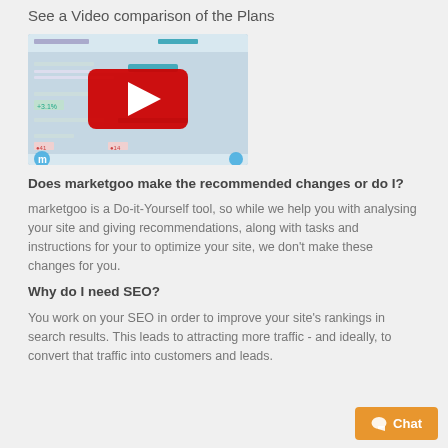See a Video comparison of the Plans
[Figure (screenshot): Screenshot of marketgoo audit dashboard with a YouTube play button overlay, showing site audit results with metrics and a red play button in the center]
Does marketgoo make the recommended changes or do I?
marketgoo is a Do-it-Yourself tool, so while we help you with analysing your site and giving recommendations, along with tasks and instructions for your to optimize your site, we don't make these changes for you.
Why do I need SEO?
You work on your SEO in order to improve your site's rankings in search results. This leads to attracting more traffic - and ideally, to convert that traffic into customers and leads.